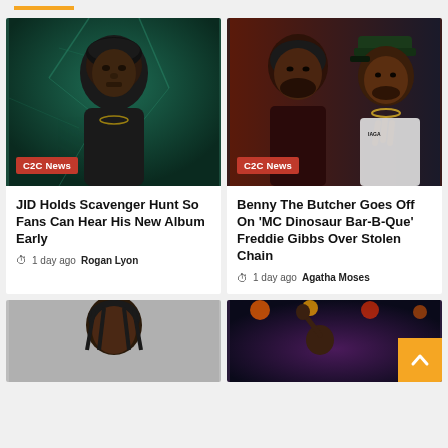[Figure (photo): Orange underline accent bar at top of page]
[Figure (photo): Photo of rapper JID against shattered teal/dark background with C2C News badge]
JID Holds Scavenger Hunt So Fans Can Hear His New Album Early
1 day ago  Rogan Lyon
[Figure (photo): Composite photo of Benny The Butcher and Freddie Gibbs with C2C News badge]
Benny The Butcher Goes Off On 'MC Dinosaur Bar-B-Que' Freddie Gibbs Over Stolen Chain
1 day ago  Agatha Moses
[Figure (photo): Partial photo of rapper at bottom left, grey background]
[Figure (photo): Partial photo of performer on stage at bottom right with orange scroll-to-top button]